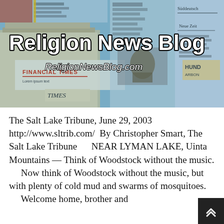[Figure (photo): Religion News Blog banner image showing a newspaper stand with various international newspapers. Large white bold text reads 'Religion News Blog' and below it 'ReligionNewsBlog.com' in italic white text over a blue-tinted newspaper background.]
The Salt Lake Tribune, June 29, 2003 http://www.sltrib.com/ By Christopher Smart, The Salt Lake Tribune     NEAR LYMAN LAKE, Uinta Mountains — Think of Woodstock without the music.     Now think of Woodstock without the music, but with plenty of cold mud and swarms of mosquitoes.     Welcome home, brother and